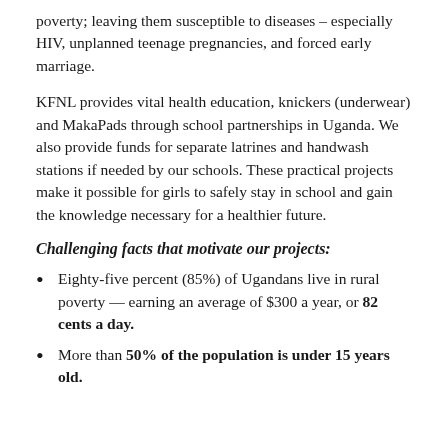poverty; leaving them susceptible to diseases – especially HIV, unplanned teenage pregnancies, and forced early marriage.
KFNL provides vital health education, knickers (underwear) and MakaPads through school partnerships in Uganda. We also provide funds for separate latrines and handwash stations if needed by our schools. These practical projects make it possible for girls to safely stay in school and gain the knowledge necessary for a healthier future.
Challenging facts that motivate our projects:
Eighty-five percent (85%) of Ugandans live in rural poverty — earning an average of $300 a year, or 82 cents a day.
More than 50% of the population is under 15 years old.